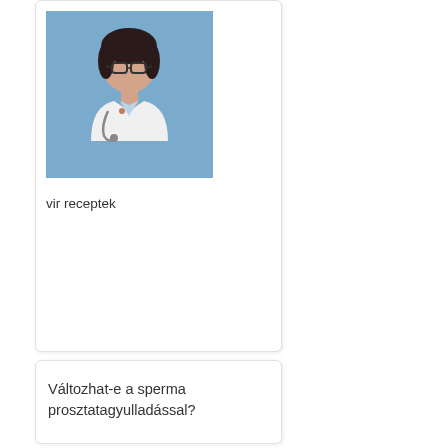[Figure (photo): Photo of a female doctor in a white coat with a stethoscope, against a blue background]
vir receptek
Változhat-e a sperma prosztatagyulladással?